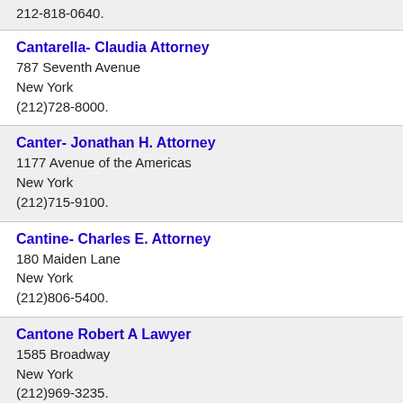212-818-0640.
Cantarella- Claudia Attorney
787 Seventh Avenue
New York
(212)728-8000.
Canter- Jonathan H. Attorney
1177 Avenue of the Americas
New York
(212)715-9100.
Cantine- Charles E. Attorney
180 Maiden Lane
New York
(212)806-5400.
Cantone Robert A Lawyer
1585 Broadway
New York
(212)969-3235.
Cantone- Robert A. Attorney
1585 Broadway
New York